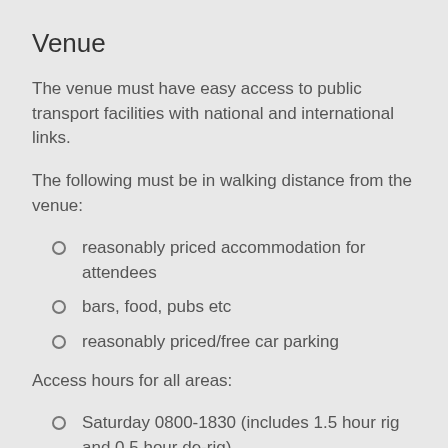Venue
The venue must have easy access to public transport facilities with national and international links.
The following must be in walking distance from the venue:
reasonably priced accommodation for attendees
bars, food, pubs etc
reasonably priced/free car parking
Access hours for all areas:
Saturday 0800-1830 (includes 1.5 hour rig and 0.5 hour de-rig)
Sunday 0900-1900 (includes 0.5 hour rig and